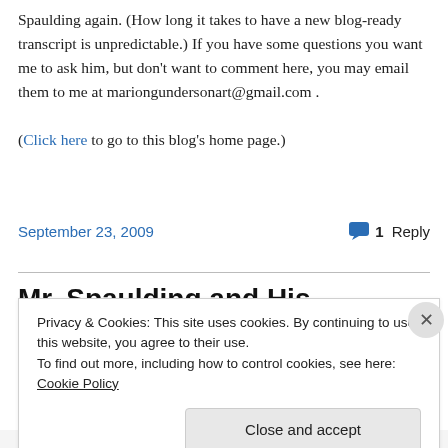Spaulding again.  (How long it takes to have a new blog-ready transcript is unpredictable.)  If you have some questions you want me to ask him, but don't want to comment here, you may email them to me at mariongundersonart@gmail.com .
(Click here to go to this blog's home page.)
September 23, 2009
1 Reply
Mr. Spaulding and His
Privacy & Cookies: This site uses cookies. By continuing to use this website, you agree to their use.
To find out more, including how to control cookies, see here: Cookie Policy
Close and accept